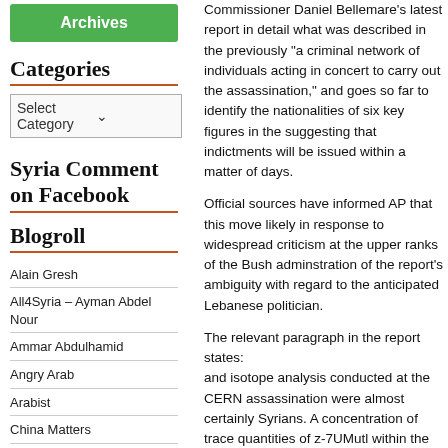Archives
Categories
Select Category
Syria Comment on Facebook
Blogroll
Alain Gresh
All4Syria – Ayman Abdel Nour
Ammar Abdulhamid
Angry Arab
Arabist
China Matters
Christopher Phillips
Col. Patrick Lang
Creative Syria
Dreyfuss Report
Enduring America – Lucas et. al.
Focus on Syria (humanitarian)
Commissioner Daniel Bellemare's latest re... in detail what was described in the previous... "a criminal network of individuals acting in c... carry out the assassination," and goes so fa... identify the nationalities of six key figures i... suggesting that indictments will be issued w... matter of days.
Official sources have informed AP that this ... likely in response to widespread criticism a... upper ranks of the Bush adminstration of th... report's ambiguity with regard to the anticip... Lebanese politician.
The relevant paragraph in the report states:... and isotope analysis conducted at the CER... assassination were almost certainly Syrians... concentration of trace quantities of z-7UMu... within the chemical 'signatures' of inhabitan... substance is also found in Lebanese indivic... suspects' DNA traces conforms more to the...
The news is expected to deal a major blow
[read the full report]
Share this: